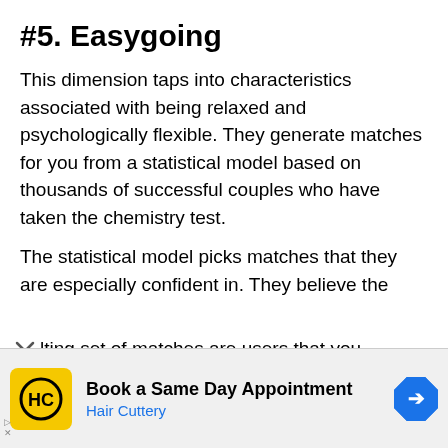#5. Easygoing
This dimension taps into characteristics associated with being relaxed and psychologically flexible. They generate matches for you from a statistical model based on thousands of successful couples who have taken the chemistry test.
The statistical model picks matches that they are especially confident in. They believe the lting set of matches are users that you
[Figure (infographic): Advertisement banner for Hair Cuttery showing yellow logo with HC letters, 'Book a Same Day Appointment' text, 'Hair Cuttery' subtitle in blue, and a blue navigation arrow icon on the right.]